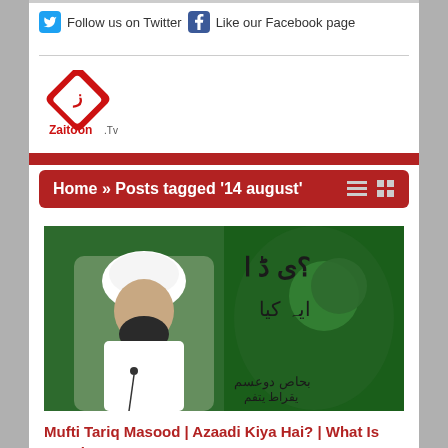Follow us on Twitter  Like our Facebook page
[Figure (logo): Zaitoon.Tv logo — red diamond shape with Arabic/Urdu lettering, text 'Zaitoon .Tv' below in red]
Home » Posts tagged '14 august'
[Figure (photo): Mufti Tariq Masood in white clothing with white turban and beard, with Pakistani flag in background with Urdu text]
Mufti Tariq Masood | Azaadi Kiya Hai? | What Is Freedom?
August 13, 2018 at 5:12 pm / Mufti Tariq